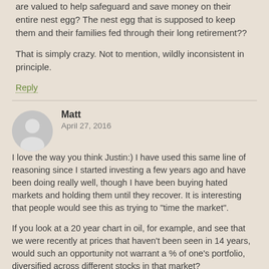are valued to help safeguard and save money on their entire nest egg? The nest egg that is supposed to keep them and their families fed through their long retirement??
That is simply crazy. Not to mention, wildly inconsistent in principle.
Reply
Matt
April 27, 2016
I love the way you think Justin:) I have used this same line of reasoning since I started investing a few years ago and have been doing really well, though I have been buying hated markets and holding them until they recover. It is interesting that people would see this as trying to "time the market".
If you look at a 20 year chart in oil, for example, and see that we were recently at prices that haven't been seen in 14 years, would such an opportunity not warrant a % of one's portfolio, diversified across different stocks in that market?